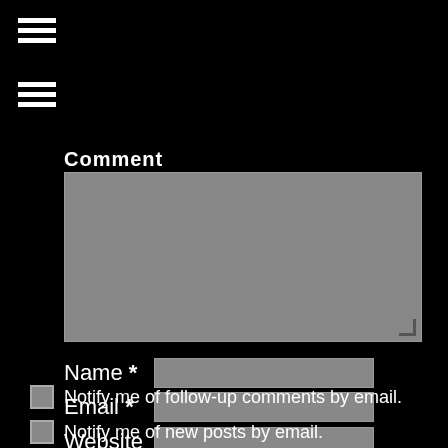[Figure (other): Hamburger menu icon (three horizontal bars) at top left]
[Figure (other): Hamburger menu icon (three horizontal bars) second instance]
Comment
[Figure (other): Comment textarea input field (gray background)]
Name *
Email *
Website
Notify me of follow-up comments by email.
Notify me of new posts by email.